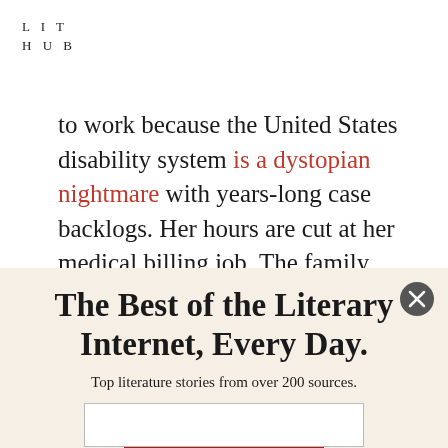LIT
HUB
to work because the United States disability system is a dystopian nightmare with years-long case backlogs. Her hours are cut at her medical billing job. The family manages to eke out an existence with
The Best of the Literary Internet, Every Day.
Top literature stories from over 200 sources.